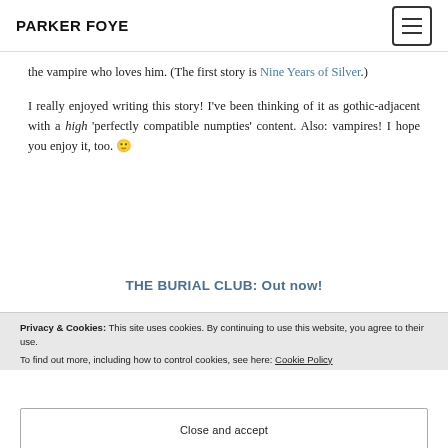PARKER FOYE
the vampire who loves him. (The first story is Nine Years of Silver.)
I really enjoyed writing this story! I've been thinking of it as gothic-adjacent with a high 'perfectly compatible numpties' content. Also: vampires! I hope you enjoy it, too. 🙂
THE BURIAL CLUB: Out now!
Privacy & Cookies: This site uses cookies. By continuing to use this website, you agree to their use.
To find out more, including how to control cookies, see here: Cookie Policy
Close and accept